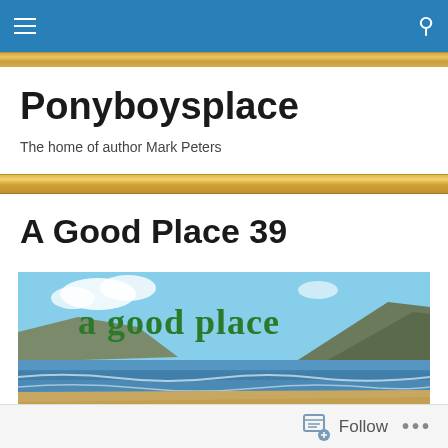Ponyboysplace navigation bar
Ponyboysplace
The home of author Mark Peters
A Good Place 39
[Figure (photo): Beach scene with text overlay 'a good place' in green serif font, showing a coastal bay with sandy beach, blue water, headland cliffs and blue sky.]
Follow   ...